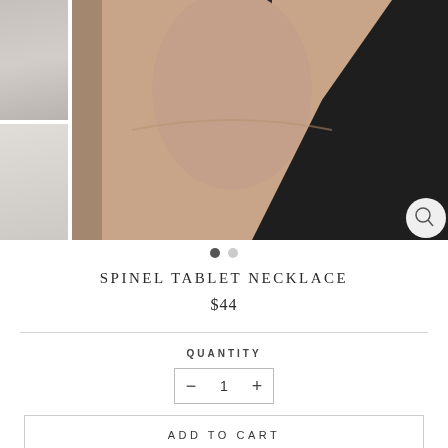[Figure (photo): Product page screenshot showing a necklace worn on a person's neck/collarbone area against a dark clothing background, with a smaller thumbnail image on the left side]
SPINEL TABLET NECKLACE
$44
QUANTITY
- 1 +
USD ▼
ADD TO CART